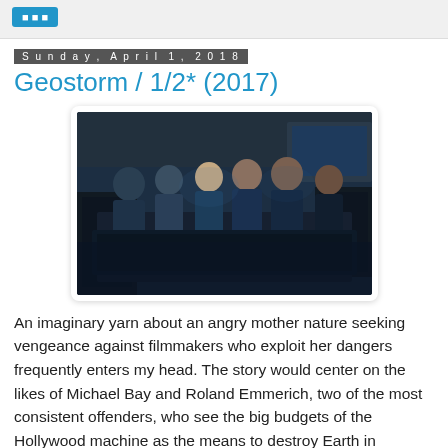Sunday, April 1, 2018
Geostorm / 1/2* (2017)
[Figure (photo): Scene from Geostorm (2017) showing several people in dark uniforms gathered around a computer monitor in a dimly lit industrial setting]
An imaginary yarn about an angry mother nature seeking vengeance against filmmakers who exploit her dangers frequently enters my head. The story would center on the likes of Michael Bay and Roland Emmerich, two of the most consistent offenders, who see the big budgets of the Hollywood machine as the means to destroy Earth in increasingly violent ways. The elements, sensing this viscous cycle of the blockbuster scene, would take revenge against the industry by unleashing a plethora of deadly